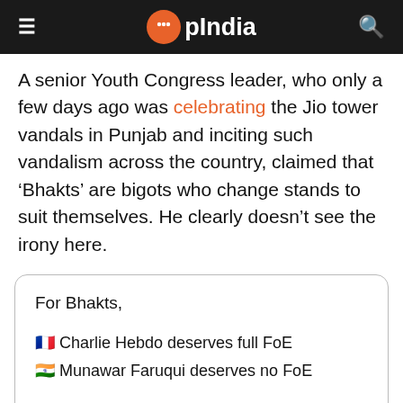OpIndia
A senior Youth Congress leader, who only a few days ago was celebrating the Jio tower vandals in Punjab and inciting such vandalism across the country, claimed that ‘Bhakts’ are bigots who change stands to suit themselves. He clearly doesn’t see the irony here.
For Bhakts,

🇫🇷 Charlie Hebdo deserves full FoE
🇮🇳 Munawar Faruqui deserves no FoE

🇺🇸 No Discrimination, All are Equal
🇮🇳 Hindutva Rules, No Secularism